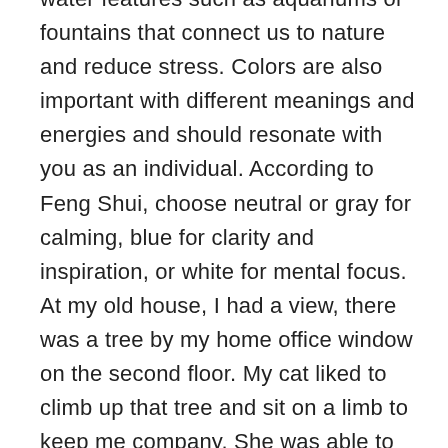water features such as aquariums or fountains that connect us to nature and reduce stress. Colors are also important with different meanings and energies and should resonate with you as an individual. According to Feng Shui, choose neutral or gray for calming, blue for clarity and inspiration, or white for mental focus. At my old house, I had a view, there was a tree by my home office window on the second floor. My cat liked to climb up that tree and sit on a limb to keep me company. She was able to survey her holdings from the tree as well as from the top of the van—and of course, I was one of them.